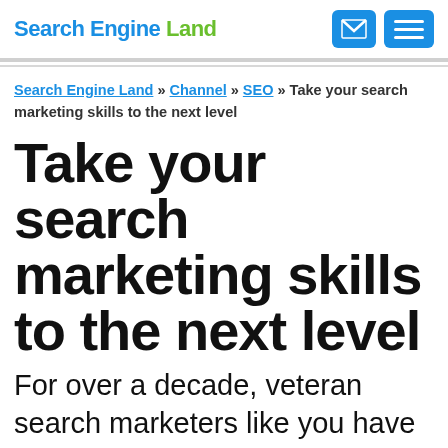Search Engine Land
Search Engine Land » Channel » SEO » Take your search marketing skills to the next level
Take your search marketing skills to the next level
For over a decade, veteran search marketers like you have come to SMX® Advanced for two days of fast-paced, no-